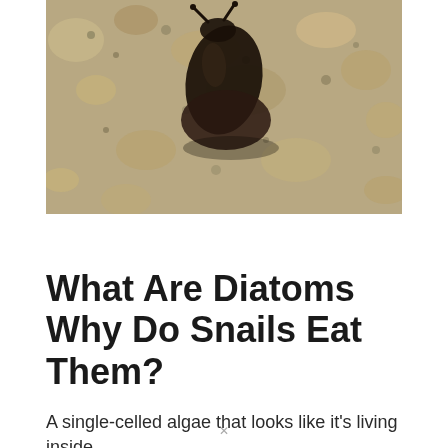[Figure (photo): Close-up photograph of a dark-colored snail crawling on a rough, textured rock surface. The snail is dark brown/black with visible body features against a light sandy rocky background.]
What Are Diatoms Why Do Snails Eat Them?
A single-celled algae that looks like it's living inside